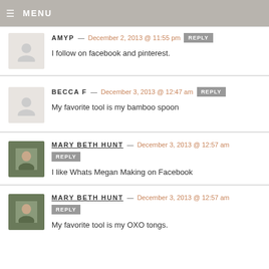MENU
AMYP — December 2, 2013 @ 11:55 pm REPLY
I follow on facebook and pinterest.
BECCA F — December 3, 2013 @ 12:47 am REPLY
My favorite tool is my bamboo spoon
MARY BETH HUNT — December 3, 2013 @ 12:57 am REPLY
I like Whats Megan Making on Facebook
MARY BETH HUNT — December 3, 2013 @ 12:57 am REPLY
My favorite tool is my OXO tongs.